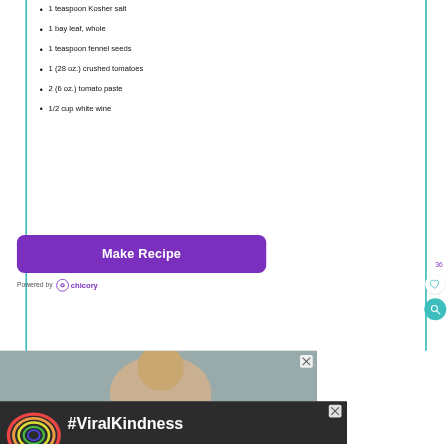1 teaspoon Kosher salt
1 bay leaf, whole
1 teaspoon fennel seeds
1 (28 oz.) crushed tomatoes
2 (6 oz.) tomato paste
1/2 cup white wine
Make Recipe
Powered by chicory
[Figure (screenshot): Advertisement area with a photo of a person and a dark banner reading #ViralKindness with a rainbow illustration]